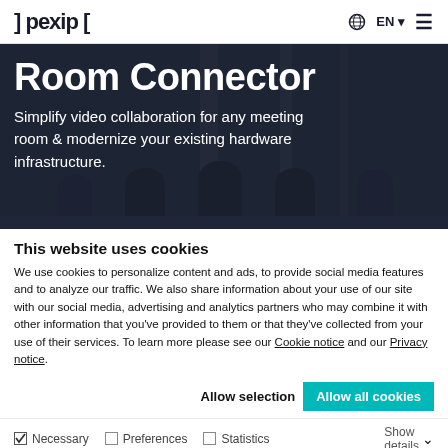] pexip [    EN    ☰
[Figure (photo): Hero banner with dark background showing silhouettes of people in a meeting room. Large white bold text reads 'Room Connector'. Subtitle text: 'Simplify video collaboration for any meeting room & modernize your existing hardware infrastructure.']
This website uses cookies
We use cookies to personalize content and ads, to provide social media features and to analyze our traffic. We also share information about your use of our site with our social media, advertising and analytics partners who may combine it with other information that you've provided to them or that they've collected from your use of their services. To learn more please see our Cookie notice and our Privacy notice.
Allow selection    Allow all cookies
☑ Necessary    ☐ Preferences    ☐ Statistics    Show details ▼    ☐ Marketing